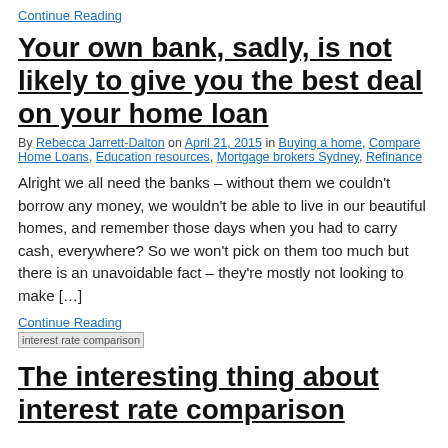Continue Reading
Your own bank, sadly, is not likely to give you the best deal on your home loan
By Rebecca Jarrett-Dalton on April 21, 2015 in Buying a home, Compare Home Loans, Education resources, Mortgage brokers Sydney, Refinance
Alright we all need the banks – without them we couldn't borrow any money, we wouldn't be able to live in our beautiful homes, and remember those days when you had to carry cash, everywhere? So we won't pick on them too much but there is an unavoidable fact – they're mostly not looking to make […]
Continue Reading
[Figure (photo): interest rate comparison thumbnail image]
The interesting thing about interest rate comparison